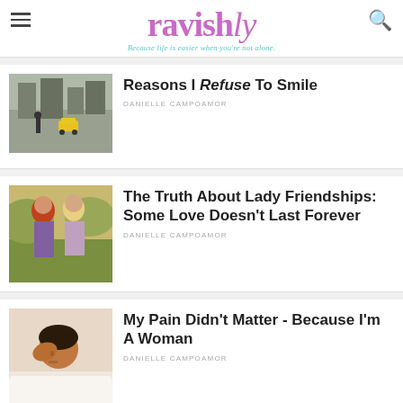ravishly — Because life is easier when you're not alone.
[Figure (photo): Street scene with pedestrians and yellow taxis in a city]
Reasons I Refuse To Smile
DANIELLE CAMPOAMOR
[Figure (photo): Two young women, one with red hair and one with blonde hair, sitting together outdoors]
The Truth About Lady Friendships: Some Love Doesn't Last Forever
DANIELLE CAMPOAMOR
[Figure (photo): Woman holding her head in pain, lying down]
My Pain Didn't Matter - Because I'm A Woman
DANIELLE CAMPOAMOR